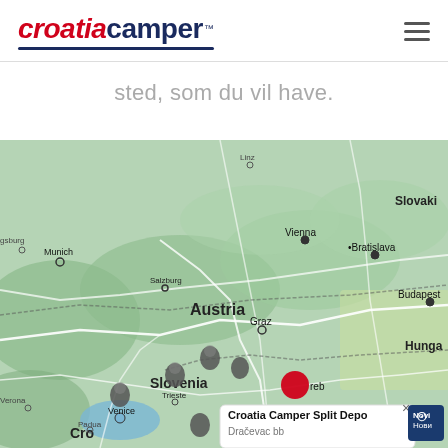[Figure (logo): Croatia Camper logo with red italic Croatia and dark blue Camper text, underlined]
sted, som du vil have.
[Figure (map): Interactive map showing Central Europe including Austria, Slovenia, Croatia, Hungary, Slovakia. Multiple grey pin markers and one red pin marker near Zagreb. A popup shows Croatia Camper Split Depot, Dračevac bb. Cities visible: Munich, Salzburg, Vienna, Bratislava, Budapest, Graz, Venice, Trieste, Padua, Verona.]
Croatia Camper Split Depot
Dračevac bb